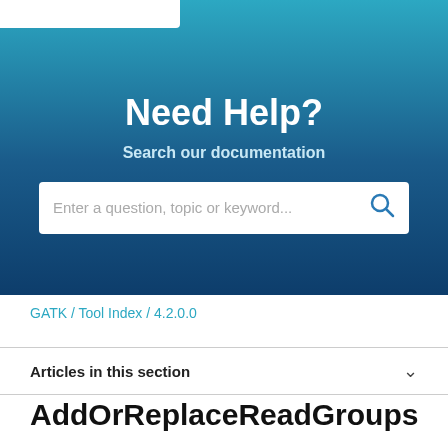[Figure (screenshot): Hero banner with teal-to-dark-blue gradient background showing 'Need Help?' heading, 'Search our documentation' subheading, and a search input bar with placeholder text and search icon.]
GATK / Tool Index / 4.2.0.0
Articles in this section
AddOrReplaceReadGroups